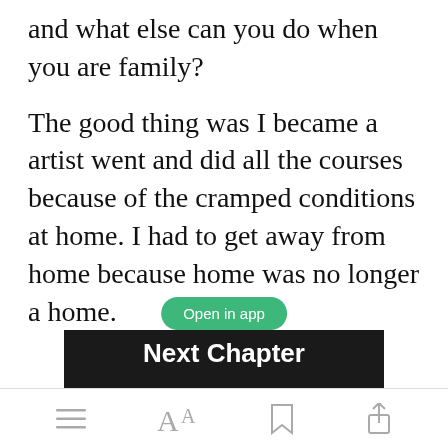and what else can you do when you are family?
The good thing was I became a artist went and did all the courses because of the cramped conditions at home. I had to get away from home because home was no longer a home.
[Figure (screenshot): App UI overlay with green 'Open in app' button and black 'Next Chapter' bar at bottom of reading view]
[Figure (screenshot): Bottom toolbar with menu (lines), font size (Aa), bookmark, and share icons]